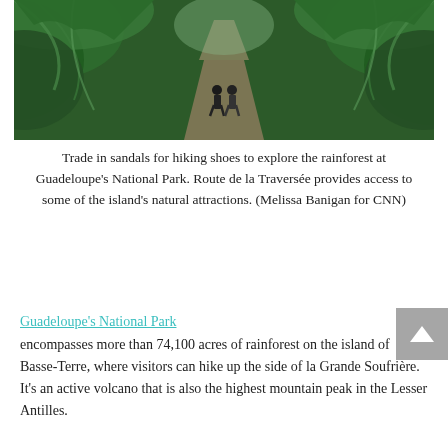[Figure (photo): Two hikers walking along a dirt path through a lush tropical rainforest with tall ferns and dense green vegetation on both sides]
Trade in sandals for hiking shoes to explore the rainforest at Guadeloupe's National Park. Route de la Traversée provides access to some of the island's natural attractions. (Melissa Banigan for CNN)
Guadeloupe's National Park encompasses more than 74,100 acres of rainforest on the island of Basse-Terre, where visitors can hike up the side of la Grande Soufrière. It's an active volcano that is also the highest mountain peak in the Lesser Antilles.